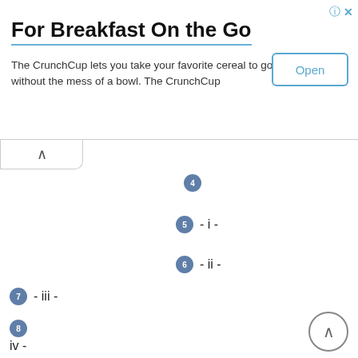For Breakfast On the Go
The CrunchCup lets you take your favorite cereal to go, without the mess of a bowl. The CrunchCup
[Figure (screenshot): Open button in a blue-bordered rounded rectangle]
[Figure (screenshot): Collapse/up-arrow button]
4
5 - i -
6 - ii -
7 - iii -
8 - iv -
9 - v -
10 - 1 -
11 - 2 -
[Figure (screenshot): Scroll-up circle button at bottom right]